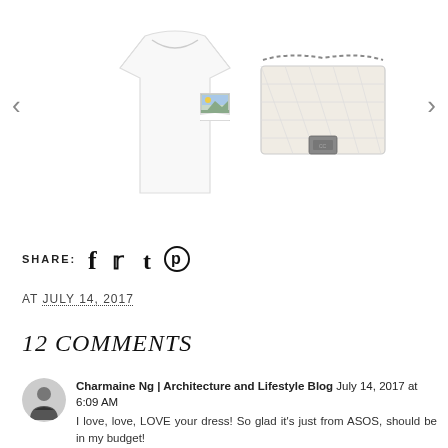[Figure (photo): Carousel with white t-shirt on left, broken image placeholder in center, cream colored bag on right, with left and right navigation arrows]
SHARE: [social icons: facebook, twitter, tumblr, pinterest]
AT JULY 14, 2017
12 COMMENTS
Charmaine Ng | Architecture and Lifestyle Blog July 14, 2017 at 6:09 AM
I love, love, LOVE your dress! So glad it's just from ASOS, should be in my budget!